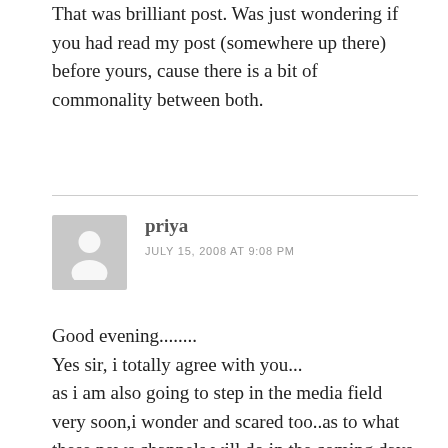That was brilliant post. Was just wondering if you had read my post (somewhere up there) before yours, cause there is a bit of commonality between both.
priya
JULY 15, 2008 AT 9:08 PM
Good evening........
Yes sir, i totally agree with you...
as i am also going to step in the media field very soon,i wonder and scared too..as to what these news channels will do in the coming days.
These news channels have broken all the levels of